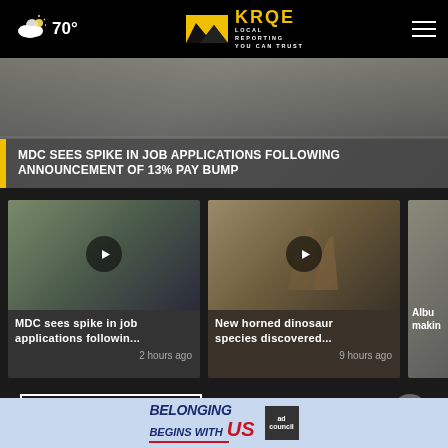70° | KRQE LOCAL REPORTING YOU CAN TRUST
[Figure (screenshot): Hero banner showing police officers in a hallway with headline overlay: MDC SEES SPIKE IN JOB APPLICATIONS FOLLOWING ANNOUNCEMENT OF 13% PAY BUMP]
MDC SEES SPIKE IN JOB APPLICATIONS FOLLOWING ANNOUNCEMENT OF 13% PAY BUMP
[Figure (screenshot): Video card 1: Police officer, MDC sees spike in job applications followin... - 2 hours ago]
MDC sees spike in job applications followin...
2 hours ago
[Figure (screenshot): Video card 2: Horned dinosaur fossil, New horned dinosaur species discovered... - 9 hours ago]
New horned dinosaur species discovered...
9 hours ago
[Figure (screenshot): Partial video card 3: Albuqu... makin...]
Albuqu... makin...
More Videos ▶
[Figure (screenshot): Advertisement banner: BELONGING BEGINS WITH US - Ad Council]